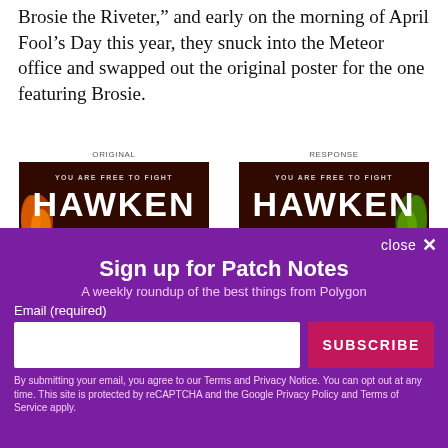Brosie the Riveter," and early on the morning of April Fool's Day this year, they snuck into the Meteor office and swapped out the original poster for the one featuring Brosie.
[Figure (photo): Two side-by-side Hawken game banners labeled ORIGINAL and RESPONSE. Both show 'YOU ARE FREE TO FIGHT HAWKEN PLAYHAWKEN.COM' with dark red/fire background.]
close ✕
Sign up for Patch Notes
A weekly roundup of the best things from Polygon
Email (required)
SUBSCRIBE
By submitting your email, you agree to our Terms and Privacy Notice. You can opt out at any time. This site is protected by reCAPTCHA and the Google Privacy Policy and Terms of Service apply.